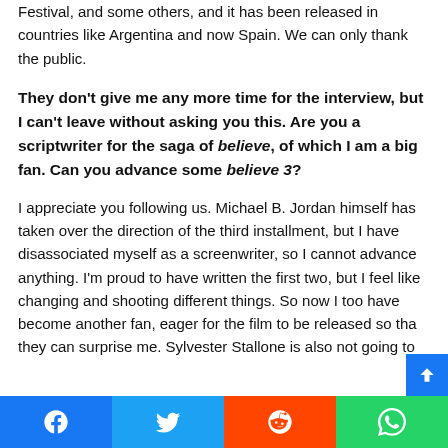Festival, and some others, and it has been released in countries like Argentina and now Spain. We can only thank the public.
They don't give me any more time for the interview, but I can't leave without asking you this. Are you a scriptwriter for the saga of believe, of which I am a big fan. Can you advance some believe 3?
I appreciate you following us. Michael B. Jordan himself has taken over the direction of the third installment, but I have disassociated myself as a screenwriter, so I cannot advance anything. I'm proud to have written the first two, but I feel like changing and shooting different things. So now I too have become another fan, eager for the film to be released so that they can surprise me. Sylvester Stallone is also not going to
Facebook | Twitter | Reddit | WhatsApp